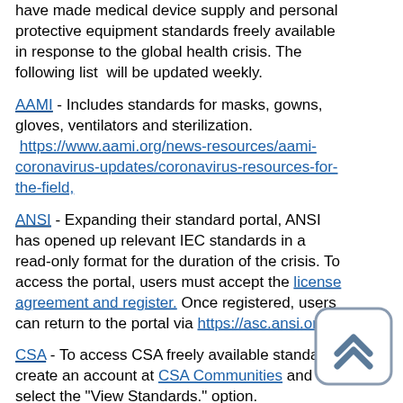have made medical device supply and personal protective equipment standards freely available in response to the global health crisis. The following list will be updated weekly.
AAMI - Includes standards for masks, gowns, gloves, ventilators and sterilization. https://www.aami.org/news-resources/aami-coronavirus-updates/coronavirus-resources-for-the-field,
ANSI - Expanding their standard portal, ANSI has opened up relevant IEC standards in a read-only format for the duration of the crisis. To access the portal, users must accept the license agreement and register. Once registered, users can return to the portal via https://asc.ansi.org.
CSA - To access CSA freely available standards, create an account at CSA Communities and select the "View Standards." option. https://www.csagroup.org/news/covid-19-